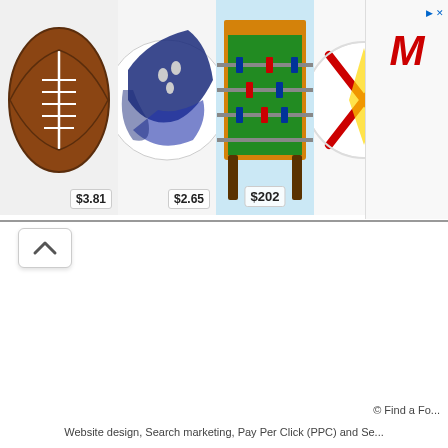[Figure (screenshot): Product strip showing sports items: football ($3.81), bowling ball ($2.65), foosball table ($202), soccer ball ($2.65), and an advertisement with a stylized red M logo.]
[Figure (other): Collapse/scroll-up button with upward caret arrow]
© Find a Fo...
Website design, Search marketing, Pay Per Click (PPC) and Se...